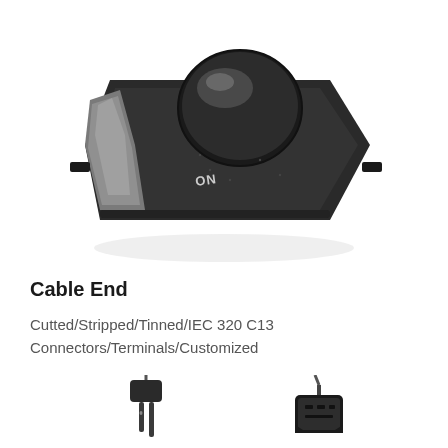[Figure (photo): Black plastic in-line foot switch/dimmer device with a round rotary knob on top labeled 'ON' and a silver/metallic accented side panel, photographed on a white background.]
Cable End
Cutted/Stripped/Tinned/IEC 320 C13
Connectors/Terminals/Customized
[Figure (photo): Two electrical connector ends: a standard two-prong plug (left) and an IEC 320 C13 connector (right), photographed on a white background.]